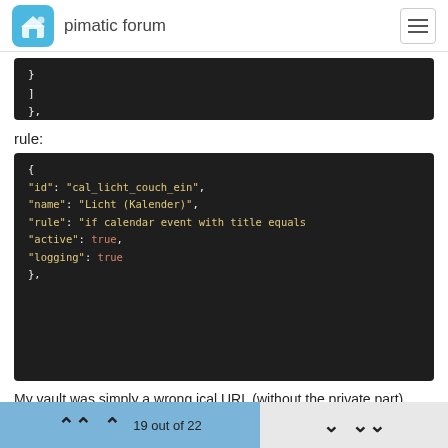pimatic forum
[Figure (screenshot): Code block showing closing brackets of JSON: }, ]]
rule:
[Figure (screenshot): JSON code block showing: { "id": "cal_licht_couch_ein", "name": "Licht (Kalender)", "rule": "if calendar event with title equals", "active": true, "logging": true },]
My vault was simply a wrong ical URL (without the private part).
See here: https://support.google.com/calendar/answer/37648
19 out of 22